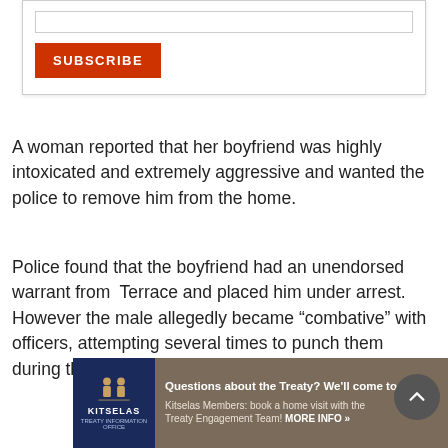[Figure (other): Subscribe form box with email input field and orange SUBSCRIBE button]
A woman reported that her boyfriend was highly intoxicated and extremely aggressive and wanted the police to remove him from the home.
Police found that the boyfriend had an unendorsed warrant from Terrace and placed him under arrest. However the male allegedly became “combative” with officers, attempting several times to punch them during the arrest. Police say he
[Figure (other): Kitselas Treaty advertisement banner: Questions about the Treaty? We'll come to you! Kitselas Members: book a home visit with the Treaty Engagement Team! MORE INFO »]